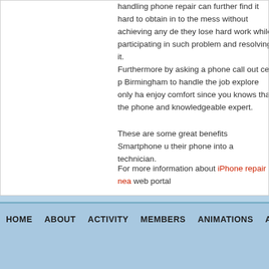handling phone repair can further find it hard to obtain in to the mess without achieving any de they lose hard work while participating in such problem and resolving it.
Furthermore by asking a phone call out cell p Birmingham to handle the job explore only ha enjoy comfort since you knows that the phone and knowledgeable expert.
These are some great benefits Smartphone u their phone into a technician.
For more information about iPhone repair nea web portal
HOME   ABOUT   ACTIVITY   MEMBERS   ANIMATIONS   ANDROID &